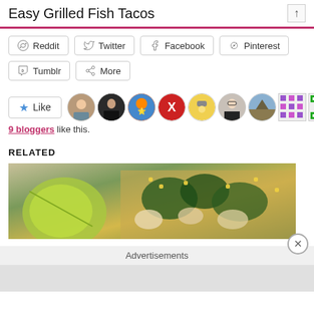Easy Grilled Fish Tacos
Reddit
Twitter
Facebook
Pinterest
Tumblr
More
[Figure (infographic): Like button with star icon, followed by a row of 9 blogger avatar images]
9 bloggers like this.
RELATED
[Figure (photo): Close-up food photo showing grilled fish taco with lime wedge, corn, dark leafy greens, and chopped vegetables]
Advertisements